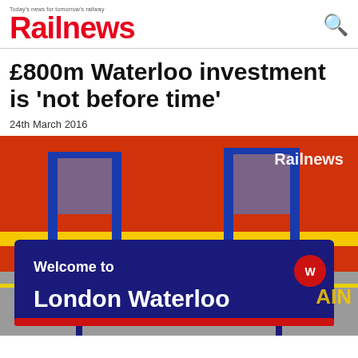Railnews — Today's news for tomorrow's railway
£800m Waterloo investment is 'not before time'
24th March 2016
[Figure (photo): Photo of London Waterloo station sign — a large dark blue rectangular sign reading 'Welcome to London Waterloo' with a red circular National Rail logo badge, in front of a red and yellow South West Trains train. The Railnews watermark appears in white in the upper right of the photo.]